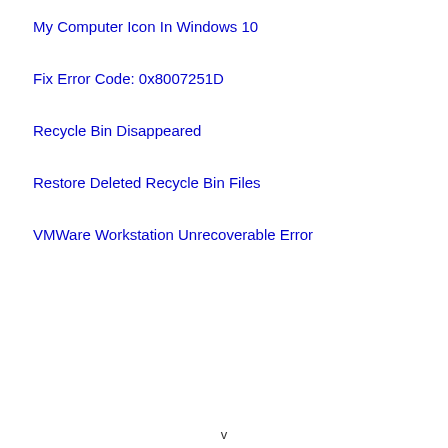My Computer Icon In Windows 10
Fix Error Code: 0x8007251D
Recycle Bin Disappeared
Restore Deleted Recycle Bin Files
VMWare Workstation Unrecoverable Error
v